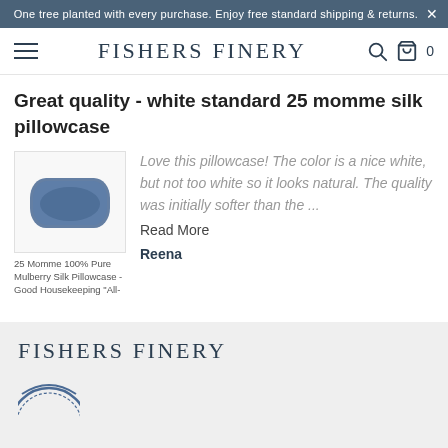One tree planted with every purchase. Enjoy free standard shipping & returns.
[Figure (logo): Fishers Finery brand name with hamburger menu, search icon, and cart icon (0 items) navigation bar]
Great quality - white standard 25 momme silk pillowcase
[Figure (photo): 25 Momme 100% Pure Mulberry Silk Pillowcase - Good Housekeeping 'All-' product image showing a navy/blue silk pillowcase]
Love this pillowcase! The color is a nice white, but not too white so it looks natural. The quality was initially softer than the ...
Read More
Reena
FISHERS FINERY